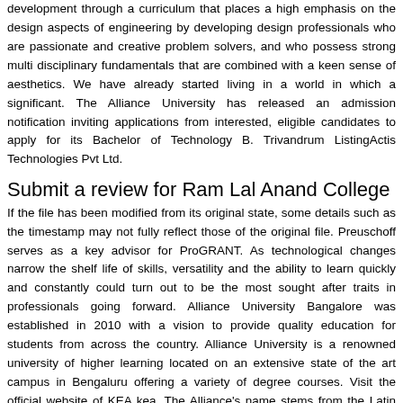development through a curriculum that places a high emphasis on the design aspects of engineering by developing design professionals who are passionate and creative problem solvers, and who possess strong multi disciplinary fundamentals that are combined with a keen sense of aesthetics. We have already started living in a world in which a significant. The Alliance University has released an admission notification inviting applications from interested, eligible candidates to apply for its Bachelor of Technology B. Trivandrum ListingActis Technologies Pvt Ltd.
Submit a review for Ram Lal Anand College
If the file has been modified from its original state, some details such as the timestamp may not fully reflect those of the original file. Preuschoff serves as a key advisor for ProGRANT. As technological changes narrow the shelf life of skills, versatility and the ability to learn quickly and constantly could turn out to be the most sought after traits in professionals going forward. Alliance University Bangalore was established in 2010 with a vision to provide quality education for students from across the country. Alliance University is a renowned university of higher learning located on an extensive state of the art campus in Bengaluru offering a variety of degree courses. Visit the official website of KEA kea. The Alliance's name stems from the Latin term arcus/arquus, for arch, representing the strong